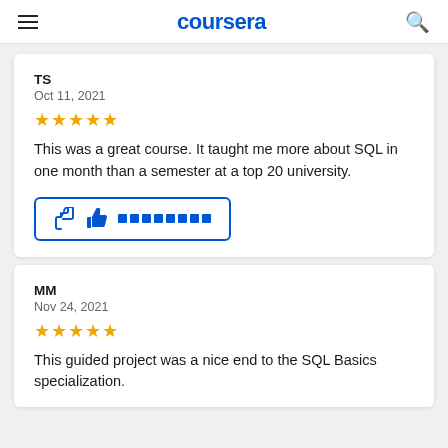coursera
TS
Oct 11, 2021
[Figure (other): 5-star rating (5 gold stars)]
This was a great course. It taught me more about SQL in one month than a semester at a top 20 university.
[Figure (other): Thumbs up helpful button with blue dots]
MM
Nov 24, 2021
[Figure (other): 5-star rating (5 gold stars)]
This guided project was a nice end to the SQL Basics specialization.